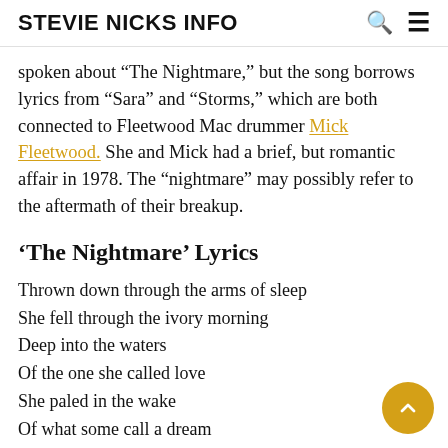STEVIE NICKS INFO
spoken about “The Nightmare,” but the song borrows lyrics from “Sara” and “Storms,” which are both connected to Fleetwood Mac drummer Mick Fleetwood. She and Mick had a brief, but romantic affair in 1978. The “nightmare” may possibly refer to the aftermath of their breakup.
‘The Nightmare’ Lyrics
Thrown down through the arms of sleep
She fell through the ivory morning
Deep into the waters
Of the one she called love
She paled in the wake
Of what some call a dream
But you cannot know a dream
Till you’ve known the nightmare